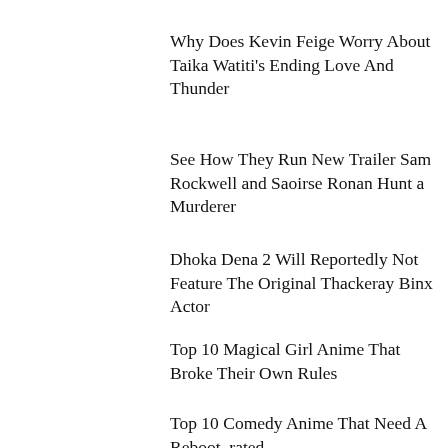Why Does Kevin Feige Worry About Taika Watiti's Ending Love And Thunder
See How They Run New Trailer Sam Rockwell and Saoirse Ronan Hunt a Murderer
Dhoka Dena 2 Will Reportedly Not Feature The Original Thackeray Binx Actor
Top 10 Magical Girl Anime That Broke Their Own Rules
Top 10 Comedy Anime That Need A Reboot, rated